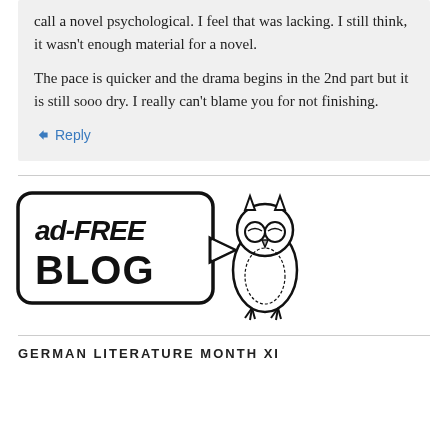call a novel psychological. I feel that was lacking. I still think, it wasn't enough material for a novel. The pace is quicker and the drama begins in the 2nd part but it is still sooo dry. I really can't blame you for not finishing.
↳ Reply
[Figure (logo): Ad-free blog badge with speech bubble containing text 'ad-free blog' and an owl illustration]
GERMAN LITERATURE MONTH XI